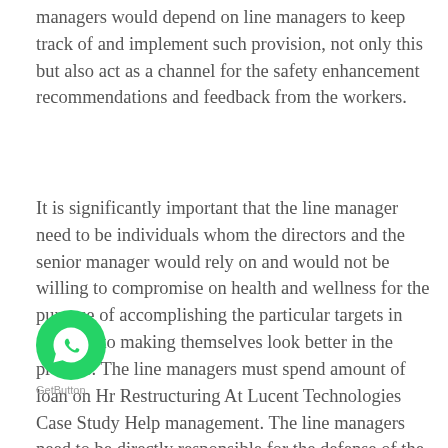managers would depend on line managers to keep track of and implement such provision, not only this but also act as a channel for the safety enhancement recommendations and feedback from the workers.
It is significantly important that the line manager need to be individuals whom the directors and the senior manager would rely on and would not be willing to compromise on health and wellness for the purpose of accomplishing the particular targets in addition to making themselves look better in the process. The line managers must spend amount of loan on Hr Restructuring At Lucent Technologies Case Study Help management. The line managers need to be directly responsible for the defense of the employees within an organization, public and the environment.